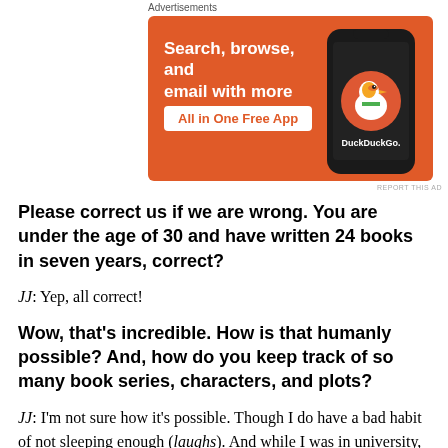Advertisements
[Figure (other): DuckDuckGo advertisement banner: orange background with phone illustration. Text reads 'Search, browse, and email with more privacy. All in One Free App' with DuckDuckGo logo and duck icon.]
REPORT THIS AD
Please correct us if we are wrong. You are under the age of 30 and have written 24 books in seven years, correct?
JJ: Yep, all correct!
Wow, that's incredible. How is that humanly possible? And, how do you keep track of so many book series, characters, and plots?
JJ: I'm not sure how it's possible. Though I do have a bad habit of not sleeping enough (laughs). And while I was in university, I barely ever left my dorm, either.